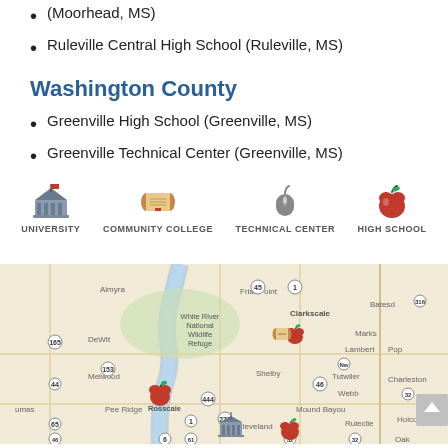(Moorhead, MS)
Ruleville Central High School (Ruleville, MS)
Washington County
Greenville High School (Greenville, MS)
Greenville Technical Center (Greenville, MS)
[Figure (infographic): Legend showing four icons: University (building icon), Community College (diploma scroll icon), Technical Center (computer mouse icon), High School (red apple icon)]
[Figure (map): Map of Mississippi Delta region showing locations of schools marked with icons. Visible cities include Clarkscale, Shelby, Mound Bayou, Cleveland, Rosscale and surrounding areas. Map pins mark school locations with red apple (high school) and scroll/building icons.]